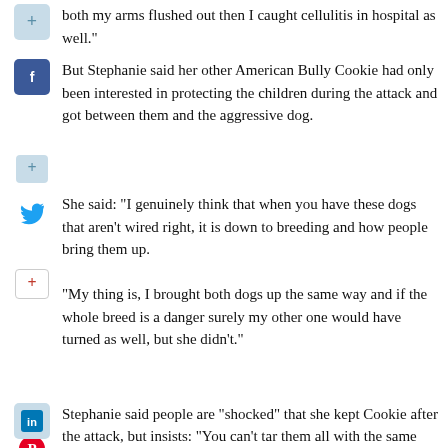both my arms flushed out then I caught cellulitis in hospital as well.”
But Stephanie said her other American Bully Cookie had only been interested in protecting the children during the attack and got between them and the aggressive dog.
She said: “I genuinely think that when you have these dogs that aren’t wired right, it is down to breeding and how people bring them up.
“My thing is, I brought both dogs up the same way and if the whole breed is a danger surely my other one would have turned as well, but she didn’t.”
Stephanie said people are “shocked” that she kept Cookie after the attack, but insists: “You can’t tar them all with the same brush. She’s literally my best friend. If I thought anything negative about this dog I would’t have kept her around my children.